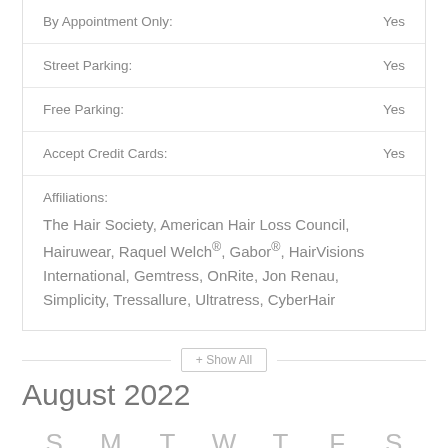| By Appointment Only: | Yes |
| Street Parking: | Yes |
| Free Parking: | Yes |
| Accept Credit Cards: | Yes |
Affiliations:
The Hair Society, American Hair Loss Council, Hairuwear, Raquel Welch®, Gabor®, HairVisions International, Gemtress, OnRite, Jon Renau, Simplicity, Tressallure, Ultratress, CyberHair
+ Show All
August 2022
S  M  T  W  T  F  S